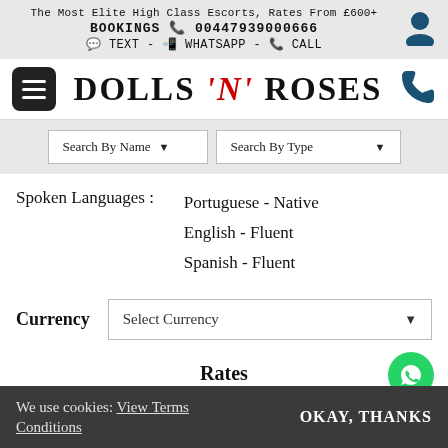The Most Elite High Class Escorts, Rates From £600+
BOOKINGS 00447939000666
TEXT - WHATSAPP - CALL
[Figure (logo): Dolls N Roses brand logo with hamburger menu and phone icon]
[Figure (other): Search By Name and Search By Type dropdown controls]
Spoken Languages :
Portuguese - Native
English - Fluent
Spanish - Fluent
Currency
Select Currency
Rates
We use cookies: View Terms Conditions
OKAY, THANKS